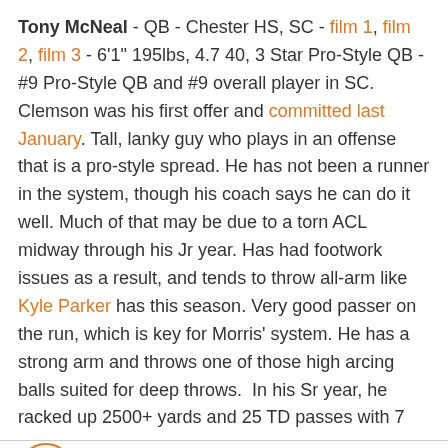Tony McNeal - QB - Chester HS, SC - film 1, film 2, film 3 - 6'1" 195lbs, 4.7 40, 3 Star Pro-Style QB - #9 Pro-Style QB and #9 overall player in SC. Clemson was his first offer and committed last January. Tall, lanky guy who plays in an offense that is a pro-style spread. He has not been a runner in the system, though his coach says he can do it well. Much of that may be due to a torn ACL midway through his Jr year. Has had footwork issues as a result, and tends to throw all-arm like Kyle Parker has this season. Very good passer on the run, which is key for Morris' system. He has a strong arm and throws one of those high arcing balls suited for deep throws.  In his Sr year, he racked up 2500+ yards and 25 TD passes with 7
Logo | Twitter | Facebook